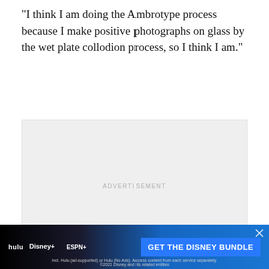“I think I am doing the Ambrotype process because I make positive photographs on glass by the wet plate collodion process, so I think I am.”
[Figure (other): Advertisement placeholder box with 'ADVERTISEMENT' label, light gray background, and a close (X) button in the bottom-right corner.]
[Figure (other): Disney Bundle advertisement banner showing Hulu, Disney+, ESPN+ logos on dark background with 'GET THE DISNEY BUNDLE' call-to-action button and fine print text: 'Incl. Hulu (ad-supported) or Hulu (No Ads). Access content from each service separately. ©2021 Disney and its related entities']